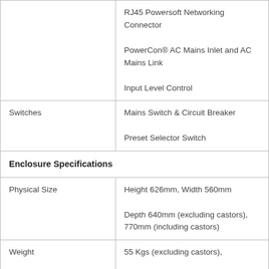|  |  |
| --- | --- |
|  | RJ45 Powersoft Networking Connector
PowerCon® AC Mains Inlet and AC Mains Link
Input Level Control |
| Switches | Mains Switch & Circuit Breaker
Preset Selector Switch |
| Enclosure Specifications |  |
| Physical Size | Height 626mm, Width 560mm Depth 640mm (excluding castors),  770mm (including castors) |
| Weight | 55 Kgs (excluding castors), 58 Kgs (including castors) |
| Enclosure Finish | AcoustiCoate Black |